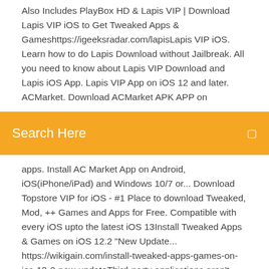Also Includes PlayBox HD & Lapis VIP | Download Lapis VIP iOS to Get Tweaked Apps & Gameshttps://igeeksradar.com/lapisLapis VIP iOS. Learn how to do Lapis Download without Jailbreak. All you need to know about Lapis VIP Download and Lapis iOS App. Lapis VIP App on iOS 12 and later. ACMarket. Download ACMarket APK APP on
[Figure (screenshot): Orange/yellow search bar UI element with text 'Search Here' in white and a small icon on the right]
apps. Install AC Market App on Android, iOS(iPhone/iPad) and Windows 10/7 or... Download Topstore VIP for iOS - #1 Place to download Tweaked, Mod, ++ Games and Apps for Free. Compatible with every iOS upto the latest iOS 13Install Tweaked Apps & Games on iOS 12.2 "New Update... https://wikigain.com/install-tweaked-apps-games-on-ios-12-2-new-updateThird-party applications aren't working on iOS 12.2 so we have come with two mehod from which we can install tweaked apps & games on iOS 12.2 Tweaked Revolution 2.02